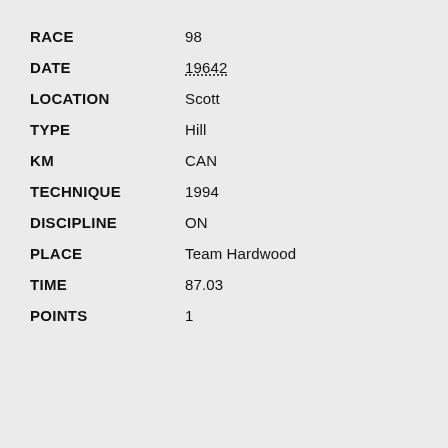RACE: 98
DATE: 19642
LOCATION: Scott
TYPE: Hill
KM: CAN
TECHNIQUE: 1994
DISCIPLINE: ON
PLACE: Team Hardwood
TIME: 87.03
POINTS: 1